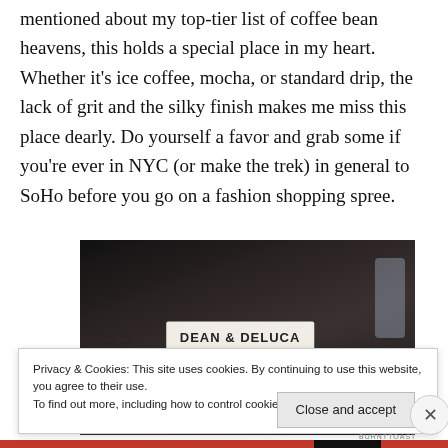mentioned about my top-tier list of coffee bean heavens, this holds a special place in my heart. Whether it's ice coffee, mocha, or standard drip, the lack of grit and the silky finish makes me miss this place dearly. Do yourself a favor and grab some if you're ever in NYC (or make the trek) in general to SoHo before you go on a fashion shopping spree.
[Figure (photo): Photo of a Dean & Deluca branded package/bag, dark background, partially visible label reading DEAN & DELUCA]
Privacy & Cookies: This site uses cookies. By continuing to use this website, you agree to their use.
To find out more, including how to control cookies, see here: Cookie Policy